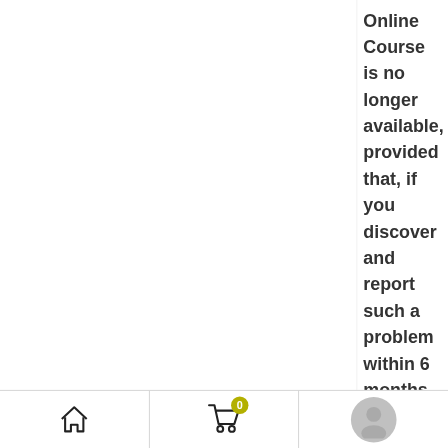Online Course is no longer available, provided that, if you discover and report such a problem within 6 months of your
[Figure (screenshot): Mobile app bottom navigation bar with three sections: home icon, shopping cart icon with badge showing 0, and user profile avatar]